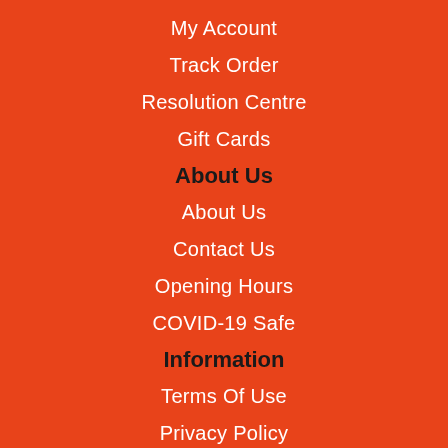My Account
Track Order
Resolution Centre
Gift Cards
About Us
About Us
Contact Us
Opening Hours
COVID-19 Safe
Information
Terms Of Use
Privacy Policy